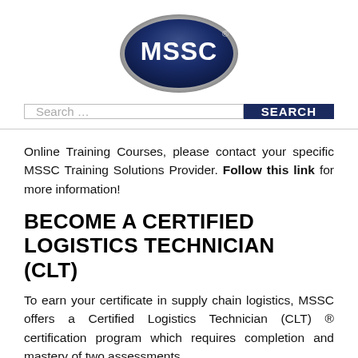[Figure (logo): MSSC logo — navy blue metallic oval with white text reading MSSC and a registered trademark symbol]
[Figure (other): Search bar with placeholder text 'Search ...' and a dark navy SEARCH button]
Online Training Courses, please contact your specific MSSC Training Solutions Provider. Follow this link for more information!
BECOME A CERTIFIED LOGISTICS TECHNICIAN (CLT)
To earn your certificate in supply chain logistics, MSSC offers a Certified Logistics Technician (CLT) ® certification program which requires completion and mastery of two assessments.